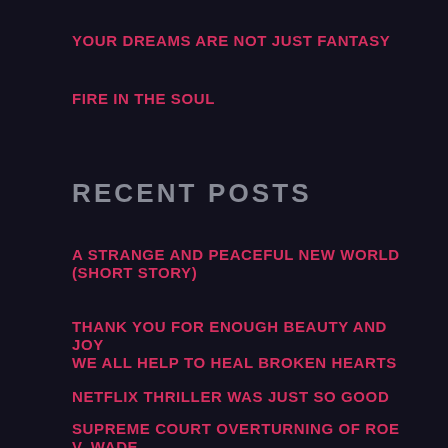YOUR DREAMS ARE NOT JUST FANTASY
FIRE IN THE SOUL
RECENT POSTS
A STRANGE AND PEACEFUL NEW WORLD (short story)
THANK YOU FOR ENOUGH BEAUTY AND JOY
WE ALL HELP TO HEAL BROKEN HEARTS
NETFLIX THRILLER WAS JUST SO GOOD
SUPREME COURT OVERTURNING OF ROE V. WADE